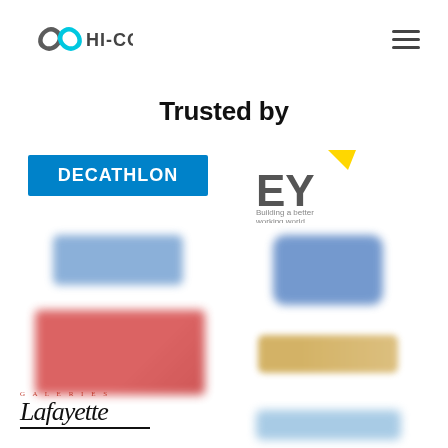[Figure (logo): HI-COM logo with infinity symbol in blue/cyan and dark text]
Trusted by
[Figure (logo): Decathlon logo - white text on blue rectangle]
[Figure (logo): EY - Ernst & Young logo with yellow triangle and 'Building a better working world' tagline]
[Figure (logo): Blurred company logo - blue tones]
[Figure (logo): Blurred company logo - red background]
[Figure (logo): Blurred company logo - blue square]
[Figure (logo): Blurred company logo - gold/amber tones]
[Figure (logo): Galeries Lafayette logo in script lettering]
[Figure (logo): Blurred company logo - light blue]